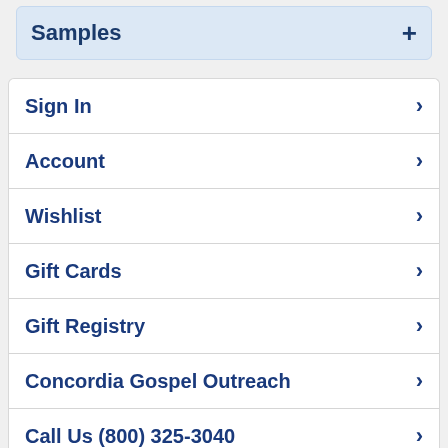Samples +
Sign In >
Account >
Wishlist >
Gift Cards >
Gift Registry >
Concordia Gospel Outreach >
Call Us (800) 325-3040 >
View Full Site >